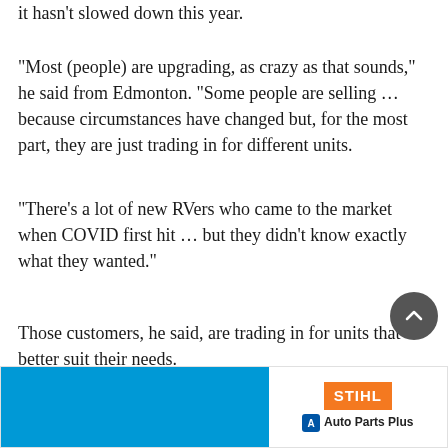it hasn't slowed down this year.
“Most (people) are upgrading, as crazy as that sounds,” he said from Edmonton. “Some people are selling … because circumstances have changed but, for the most part, they are just trading in for different units.
“There’s a lot of new RVers who came to the market when COVID first hit … but they didn’t know exactly what they wanted.”
Those customers, he said, are trading in for units that better suit their needs.
Mi...
[Figure (other): Advertisement banner with STIHL and Auto Parts Plus branding on right side and blue rectangle on left side]